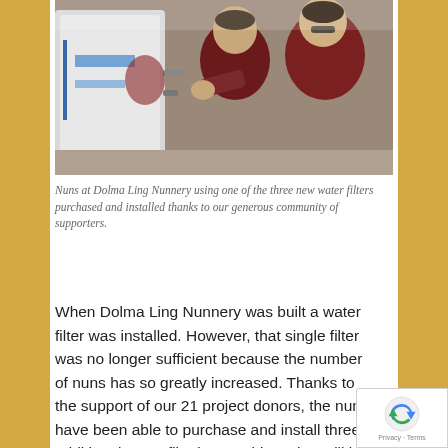[Figure (photo): Nuns in dark red robes at Dolma Ling Nunnery using one of the new water filter machines. Close-up of people working around a large white cylindrical water filtration unit.]
Nuns at Dolma Ling Nunnery using one of the three new water filters purchased and installed thanks to our generous community of supporters.
When Dolma Ling Nunnery was built a water filter was installed. However, that single filter was no longer sufficient because the number of nuns has so greatly increased. Thanks to the support of our 21 project donors, the nuns have been able to purchase and install three additional water filtering machines that will be enough for over 280 nuns and staff residing at the nunnery.